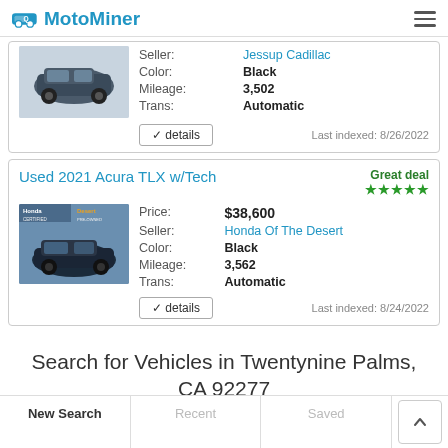MotoMiner
[Figure (screenshot): Partial car listing card (top, cropped) showing a dark SUV with seller Jessup Cadillac, Color: Black, Mileage: 3,502, Trans: Automatic, details button, Last indexed: 8/26/2022]
Used 2021 Acura TLX w/Tech
[Figure (photo): Car listing image for Used 2021 Acura TLX w/Tech showing a dark sedan with Honda and Desert dealer branding]
Price: $38,600 | Seller: Honda Of The Desert | Color: Black | Mileage: 3,562 | Trans: Automatic | Last indexed: 8/24/2022
Search for Vehicles in Twentynine Palms, CA 92277
New Search | Recent | Saved